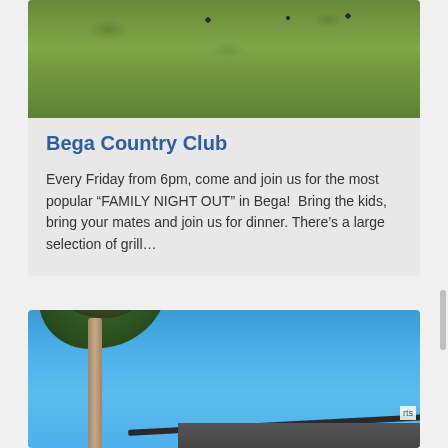[Figure (photo): Aerial or ground-level photo of a green grass field/golf course with a few dark silhouettes of people in the background]
Bega Country Club
Every Friday from 6pm, come and join us for the most popular “FAMILY NIGHT OUT” in Bega!  Bring the kids, bring your mates and join us for dinner. There’s a large selection of grill…
[Figure (photo): Photo of a large eucalyptus tree against a blue sky, with a building roofline visible at the bottom right]